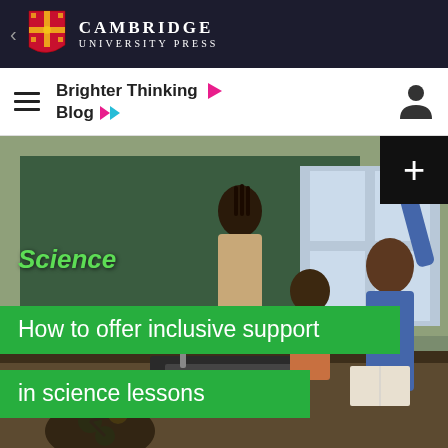Cambridge University Press
Brighter Thinking Blog
[Figure (photo): Students in a science classroom lab setting; one student with hand raised, others working at lab bench with sinks and molecular models]
Science
How to offer inclusive support in science lessons